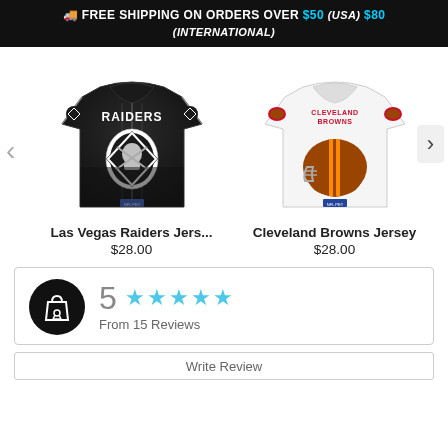🚚 FREE SHIPPING ON ORDERS OVER $50 (USA) $80 (INTERNATIONAL)
[Figure (photo): Black Las Vegas Raiders NFL pet jersey with Raiders logo and shield emblem]
[Figure (photo): White Cleveland Browns NFL pet jersey with Browns helmet logo and team name]
Las Vegas Raiders Jers...
$28.00
Cleveland Browns Jersey
$28.00
5 ★★★★★ From 15 Reviews
Write Review